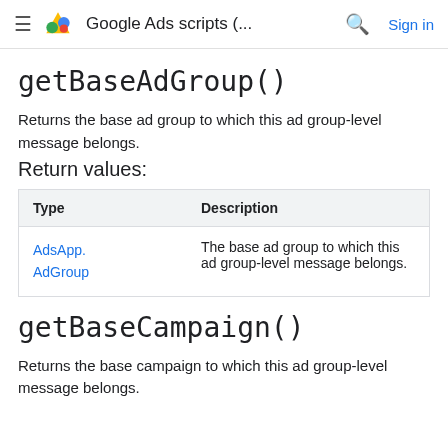Google Ads scripts (... Sign in
getBaseAdGroup()
Returns the base ad group to which this ad group-level message belongs.
Return values:
| Type | Description |
| --- | --- |
| AdsApp.AdGroup | The base ad group to which this ad group-level message belongs. |
getBaseCampaign()
Returns the base campaign to which this ad group-level message belongs.